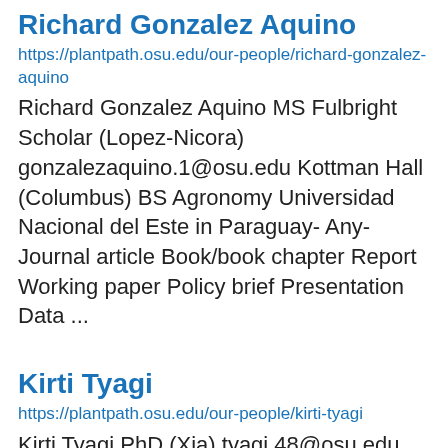Richard Gonzalez Aquino
https://plantpath.osu.edu/our-people/richard-gonzalez-aquino
Richard Gonzalez Aquino MS Fulbright Scholar (Lopez-Nicora) gonzalezaquino.1@osu.edu Kottman Hall (Columbus) BS Agronomy Universidad Nacional del Este in Paraguay- Any- Journal article Book/book chapter Report Working paper Policy brief Presentation Data ...
Kirti Tyagi
https://plantpath.osu.edu/our-people/kirti-tyagi
Kirti Tyagi PhD (Xia) tyagi.48@osu.edu Kottman Hall (Columbus) MS Lf...